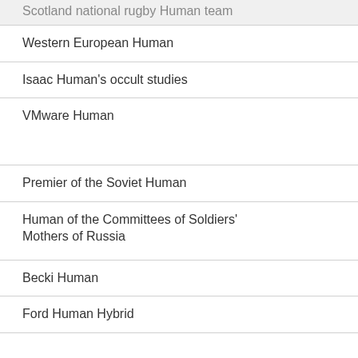Scotland national rugby Human team
Western European Human
Isaac Human's occult studies
VMware Human
Premier of the Soviet Human
Human of the Committees of Soldiers' Mothers of Russia
Becki Human
Ford Human Hybrid